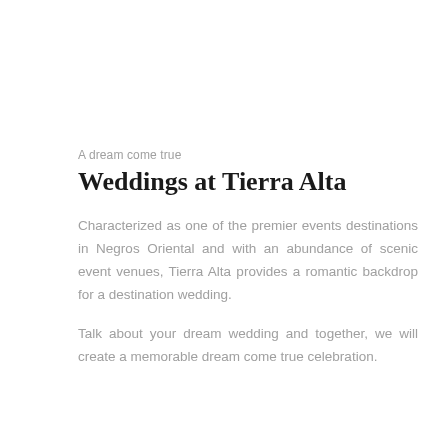A dream come true
Weddings at Tierra Alta
Characterized as one of the premier events destinations in Negros Oriental and with an abundance of scenic event venues, Tierra Alta provides a romantic backdrop for a destination wedding.
Talk about your dream wedding and together, we will create a memorable dream come true celebration.